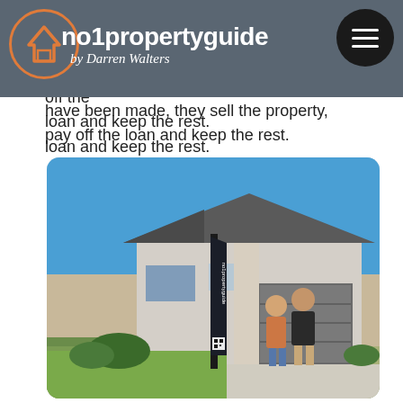no1propertyguide by Darren Walters
costs early in the investment. Then, once the capital renovations have been made, they sell the property, pay off the loan and keep the rest.
[Figure (photo): A man and woman standing in front of a modern Australian house with a no1propertyguide branded banner/flag in the foreground. Blue sky background.]